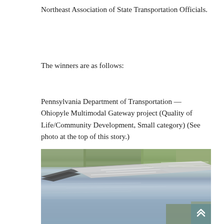Northeast Association of State Transportation Officials.
The winners are as follows:
Pennsylvania Department of Transportation — Ohiopyle Multimodal Gateway project (Quality of Life/Community Development, Small category) (See photo at the top of this story.)
[Figure (photo): Aerial view of a multi-lane highway bridge crossing a wide river, with autumn foliage trees on both banks and calm water below.]